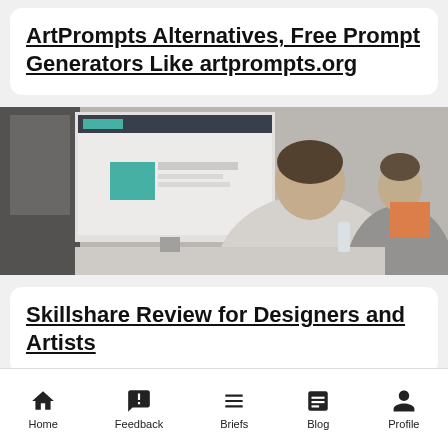ArtPrompts Alternatives, Free Prompt Generators Like artprompts.org
[Figure (photo): Person sitting at a computer workstation with monitors showing design work, in an office setting with other people in background]
Skillshare Review for Designers and Artists
Home | Feedback | Briefs | Blog | Profile